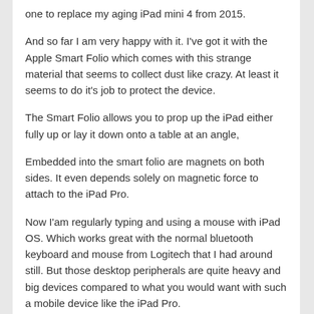one to replace my aging iPad mini 4 from 2015.
And so far I am very happy with it. I've got it with the Apple Smart Folio which comes with this strange material that seems to collect dust like crazy. At least it seems to do it's job to protect the device.
The Smart Folio allows you to prop up the iPad either fully up or lay it down onto a table at an angle,
Embedded into the smart folio are magnets on both sides. It even depends solely on magnetic force to attach to the iPad Pro.
Now I'am regularly typing and using a mouse with iPad OS. Which works great with the normal bluetooth keyboard and mouse from Logitech that I had around still. But those desktop peripherals are quite heavy and big devices compared to what you would want with such a mobile device like the iPad Pro.
There are multiple options that replace the Smart Folio with keyboard and touchpad combos. From Apple, from Logitech